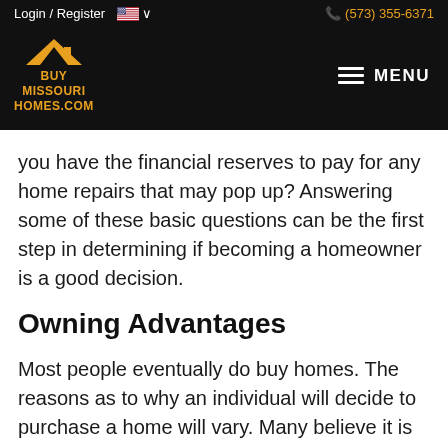Login / Register   (573) 355-6371
[Figure (logo): Buy Missouri Homes.com logo with golden roof/house icon on black background, and MENU hamburger button]
you have the financial reserves to pay for any home repairs that may pop up? Answering some of these basic questions can be the first step in determining if becoming a homeowner is a good decision.
Owning Advantages
Most people eventually do buy homes. The reasons as to why an individual will decide to purchase a home will vary. Many believe it is the “adult thing” to do, some want to obtain a sense of stability, and others want to